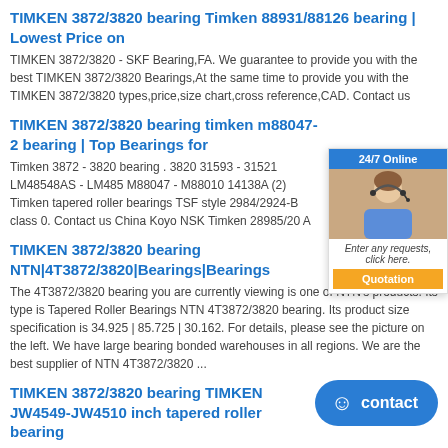TIMKEN 3872/3820 bearing Timken 88931/88126 bearing | Lowest Price on
TIMKEN 3872/3820 - SKF Bearing,FA. We guarantee to provide you with the best TIMKEN 3872/3820 Bearings,At the same time to provide you with the TIMKEN 3872/3820 types,price,size chart,cross reference,CAD. Contact us
TIMKEN 3872/3820 bearing timken m88047-2 bearing | Top Bearings for
Timken 3872 - 3820 bearing . 3820 31593 - 31521 LM48548AS - LM485 M88047 - M88010 14138A (2) Timken tapered roller bearings TSF style 2984/2924-B class 0. Contact us China Koyo NSK Timken 28985/20 A
TIMKEN 3872/3820 bearing NTN|4T3872/3820|Bearings|Bearings
The 4T3872/3820 bearing you are currently viewing is one of NTN's products. Its type is Tapered Roller Bearings NTN 4T3872/3820 bearing. Its product size specification is 34.925 | 85.725 | 30.162. For details, please see the picture on the left. We have large bearing bonded warehouses in all regions. We are the best supplier of NTN 4T3872/3820 ...
TIMKEN 3872/3820 bearing TIMKEN JW4549-JW4510 inch tapered roller bearing
TIMKEN JW4549-JW4510 inch tapered roller bearing 45X
TIMKEN Bearing [29] Sheib High Quality Bearing [50] Hot Keywords TIMKEN